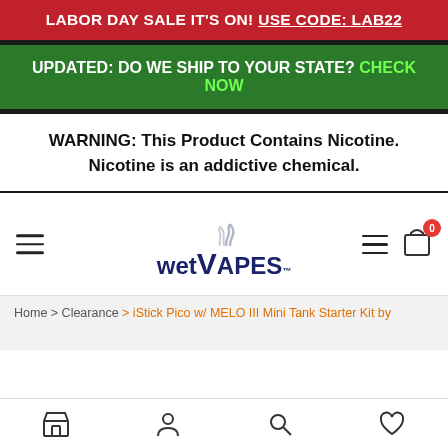LABOR DAY SALE IT'S ON! USE CODE: LAB22
UPDATED: DO WE SHIP TO YOUR STATE? CHECK NOW
WARNING: This Product Contains Nicotine. Nicotine is an addictive chemical.
[Figure (logo): WetVapes logo with smoke curl above stylized text]
Home > Clearance > iStick Pico w/ MELO III Mini Tank Starter Kit by
Bottom navigation bar with store, account, search, and wishlist icons